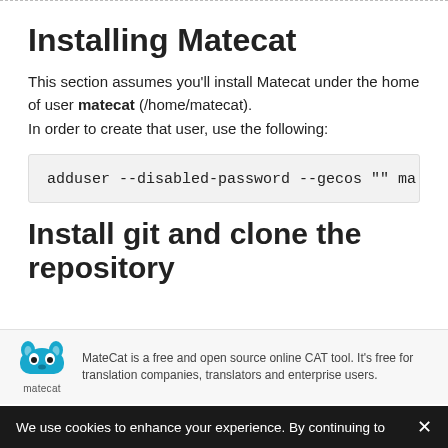Installing Matecat
This section assumes you'll install Matecat under the home of user matecat (/home/matecat).
In order to create that user, use the following:
Install git and clone the repository
MateCat is a free and open source online CAT tool. It's free for translation companies, translators and enterprise users.
We use cookies to enhance your experience. By continuing to